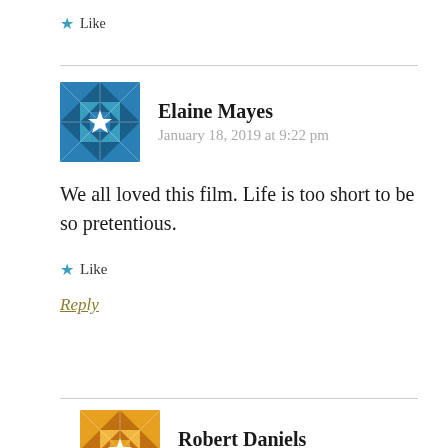Like
Elaine Mayes
January 18, 2019 at 9:22 pm
We all loved this film. Life is too short to be so pretentious.
Like
Reply
Robert Daniels
January 18, 2019 at 11:15 pm